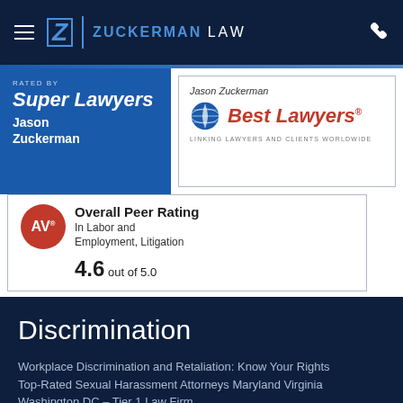Zuckerman Law
[Figure (logo): Super Lawyers badge with text RATED BY Super Lawyers Jason Zuckerman on blue background]
[Figure (logo): Best Lawyers badge with Jason Zuckerman name and Best Lawyers logo with globe icon]
[Figure (infographic): AV Overall Peer Rating badge: In Labor and Employment, Litigation. 4.6 out of 5.0]
Discrimination
Workplace Discrimination and Retaliation: Know Your Rights
Top-Rated Sexual Harassment Attorneys Maryland Virginia Washington DC – Tier 1 Law Firm
Top-Rated Maryland Gender Discrimination Attorneys
Banking and Financial Services Sex Harassment and Discrimination